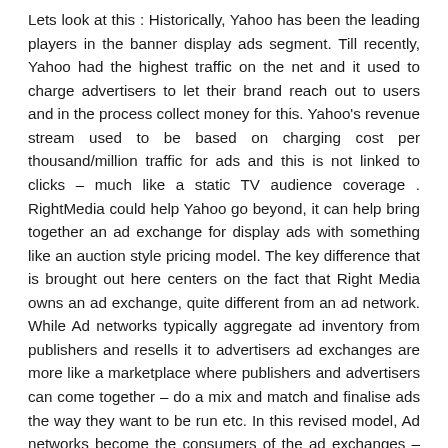Lets look at this : Historically, Yahoo has been the leading players in the banner display ads segment. Till recently, Yahoo had the highest traffic on the net and it used to charge advertisers to let their brand reach out to users and in the process collect money for this. Yahoo's revenue stream used to be based on charging cost per thousand/million traffic for ads and this is not linked to clicks – much like a static TV audience coverage . RightMedia could help Yahoo go beyond, it can help bring together an ad exchange for display ads with something like an auction style pricing model. The key difference that is brought out here centers on the fact that Right Media owns an ad exchange, quite different from an ad network. While Ad networks typically aggregate ad inventory from publishers and resells it to advertisers ad exchanges are more like a marketplace where publishers and advertisers can come together – do a mix and match and finalise ads the way they want to be run etc. In this revised model, Ad networks become the consumers of the ad exchanges –albeit a very big class of customers by themselves. This is different from Google's forte : text based ads that appeal to a broad based set of advertisers – typically small business.